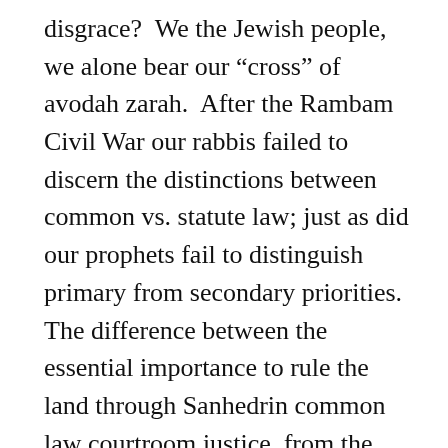disgrace? We the Jewish people, we alone bear our “cross” of avodah zarah. After the Rambam Civil War our rabbis failed to discern the distinctions between common vs. statute law; just as did our prophets fail to distinguish primary from secondary priorities. The difference between the essential importance to rule the land through Sanhedrin common law courtroom justice, from the fluff of building, based upon assimilation, the klippah oracle Temples which the judgment of HaShem repeatedly destroyed.
Prophets, kings, cohanim, and rabbis all failed to lead the chosen Cohen nation from